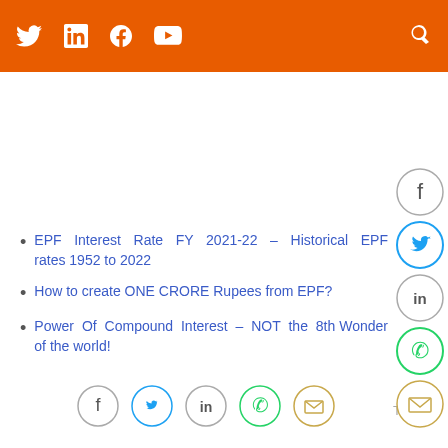Social media header bar with Twitter, LinkedIn, Facebook, YouTube icons and search
EPF Interest Rate FY 2021-22 – Historical EPF rates 1952 to 2022
How to create ONE CRORE Rupees from EPF?
Power Of Compound Interest – NOT the 8th Wonder of the world!